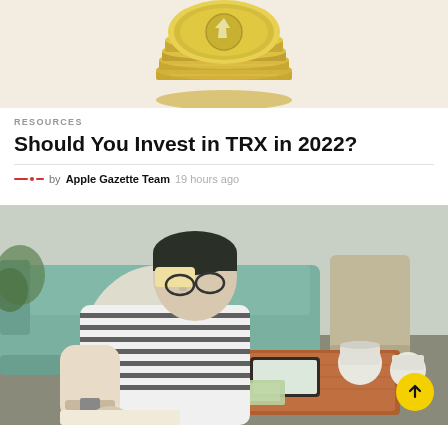[Figure (photo): Stack of gold cryptocurrency coins on a light background, with a coin showing a logo on top]
RESOURCES
Should You Invest in TRX in 2022?
by Apple Gazette Team 19 hours ago
[Figure (photo): Person wearing a beanie hat and striped shirt, sitting on a couch and writing in a notebook on a wooden coffee table with a phone, candles, and some cash on the table. A yellow scroll-to-top button is visible in the bottom right corner.]